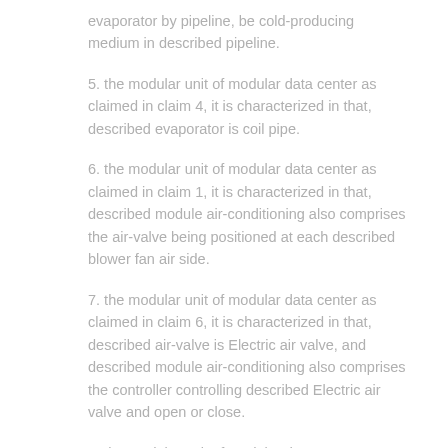evaporator by pipeline, be cold-producing medium in described pipeline.
5. the modular unit of modular data center as claimed in claim 4, it is characterized in that, described evaporator is coil pipe.
6. the modular unit of modular data center as claimed in claim 1, it is characterized in that, described module air-conditioning also comprises the air-valve being positioned at each described blower fan air side.
7. the modular unit of modular data center as claimed in claim 6, it is characterized in that, described air-valve is Electric air valve, and described module air-conditioning also comprises the controller controlling described Electric air valve and open or close.
8. the modular unit of modular data center as claimed in claim 1, it is characterized in that, described module air-conditioning also comprises the screen pack being positioned at and described shell is oppositely arranged with described blower fan.